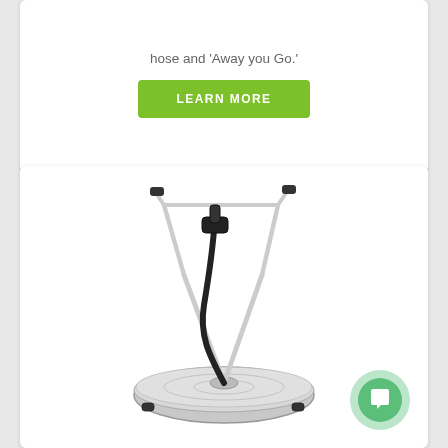hose and 'Away you Go.'
LEARN MORE
[Figure (photo): A stainless steel surface cleaner / pressure washer attachment with a circular flat base on casters, metal handle bars extending upward, a black hose, and trigger gun at top.]